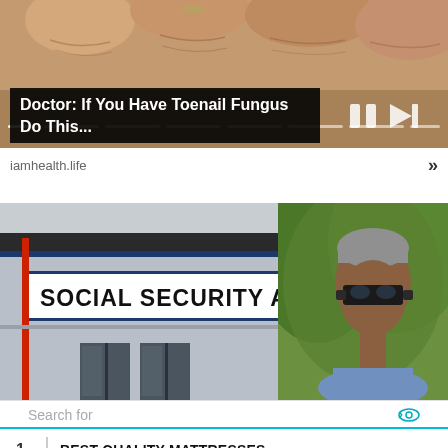[Figure (screenshot): Video thumbnail showing close-up of toes/feet with skin texture, video progress bar and playback controls visible]
Doctor: If You Have Toenail Fungus Do This...
iamhealth.life
[Figure (photo): Photo of Social Security Administration building exterior with sign reading 'SOCIAL SECURITY ADMI']
[Figure (photo): Photo of man with gray hair wearing sunglasses outdoors with green trees in background]
Search for
1. BEST QUALITY MATTRESSES →
2. BEST MATTRESS PRICE →
Ad | Glocal Search